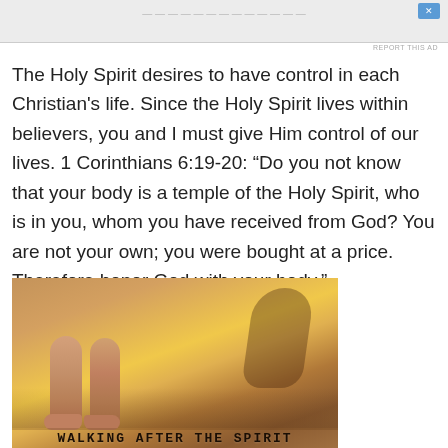[Figure (screenshot): Partial ad banner at top of page with light gray background]
REPORT THIS AD
The Holy Spirit desires to have control in each Christian's life. Since the Holy Spirit lives within believers, you and I must give Him control of our lives. 1 Corinthians 6:19-20: “Do you not know that your body is a temple of the Holy Spirit, who is in you, whom you have received from God? You are not your own; you were bought at a price. Therefore honor God with your body.”
[Figure (photo): Photo of a baby/toddler standing on a wooden floor, bare legs visible from waist down, with a shadow silhouette against a warm yellow/orange lit background. Text at bottom reads WALKING AFTER THE SPIRIT in bold monospace letters.]